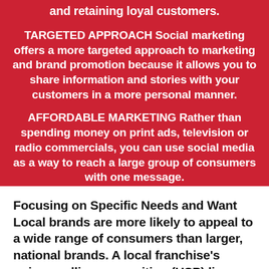and retaining loyal customers.
TARGETED APPROACH Social marketing offers a more targeted approach to marketing and brand promotion because it allows you to share information and stories with your customers in a more personal manner.
AFFORDABLE MARKETING Rather than spending money on print ads, television or radio commercials, you can use social media as a way to reach a large group of consumers with one message.
Focusing on Specific Needs and Want Local brands are more likely to appeal to a wide range of consumers than larger, national brands. A local franchise's unique selling proposition (USP) lies within its product or service and what it has to offer